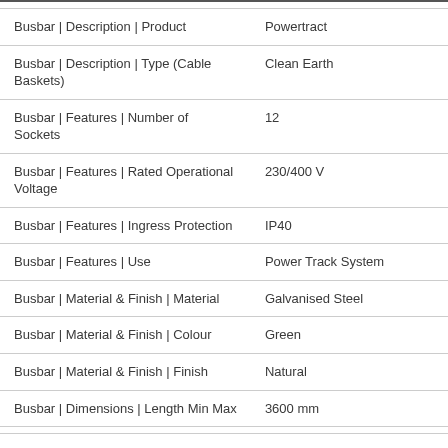| Attribute | Value |
| --- | --- |
| Busbar | Description | Product | Powertract |
| Busbar | Description | Type (Cable Baskets) | Clean Earth |
| Busbar | Features | Number of Sockets | 12 |
| Busbar | Features | Rated Operational Voltage | 230/400 V |
| Busbar | Features | Ingress Protection | IP40 |
| Busbar | Features | Use | Power Track System |
| Busbar | Material & Finish | Material | Galvanised Steel |
| Busbar | Material & Finish | Colour | Green |
| Busbar | Material & Finish | Finish | Natural |
| Busbar | Dimensions | Length Min Max | 3600 mm |